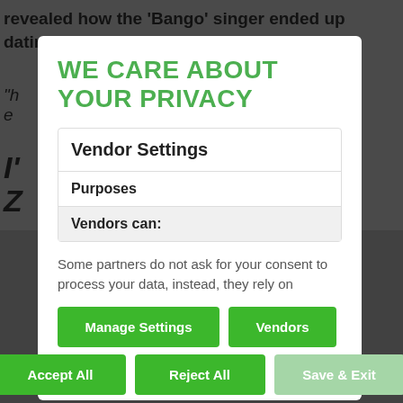revealed how the 'Bango' singer ended up dating his th
"h e
I' Z
WE CARE ABOUT YOUR PRIVACY
Vendor Settings
Purposes
Vendors can:
Some partners do not ask for your consent to process your data, instead, they rely on
Manage Settings
Vendors
Accept All
Reject All
Save & Exit